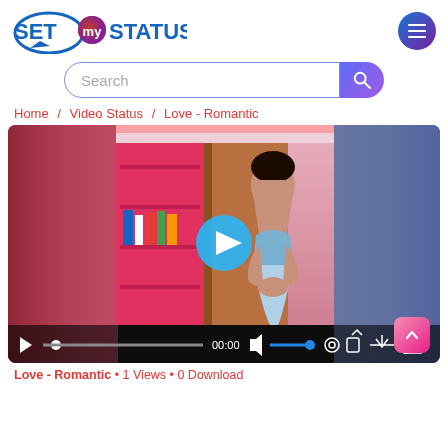[Figure (logo): SetMyStatus logo with chat bubble and 'my' in red/purple circle, blue text SET STATUS]
[Figure (screenshot): Search bar with rounded input and gradient search button]
Home / Video Status / Love - Romantic
[Figure (screenshot): Video player showing a woman in a saree in a room with pink bookshelf, play button overlay, and video controls bar showing 00:00 timecode]
Love - Romantic • 1 Views • 0 Download